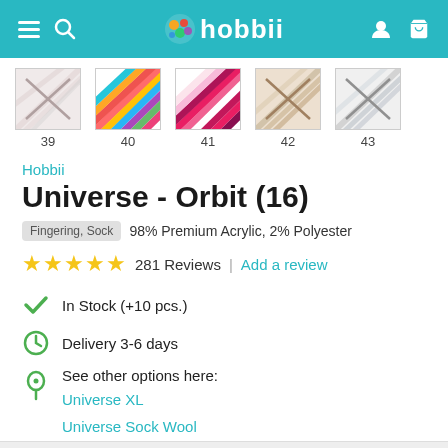hobbii
[Figure (screenshot): Five color swatch thumbnails numbered 39, 40, 41, 42, 43 showing diagonal stripe patterns in various colorways]
Hobbii
Universe - Orbit (16)
Fingering, Sock  98% Premium Acrylic, 2% Polyester
★★★★★ 281 Reviews | Add a review
In Stock (+10 pcs.)
Delivery 3-6 days
See other options here:
Universe XL
Universe Sock Wool
Universe Christmas